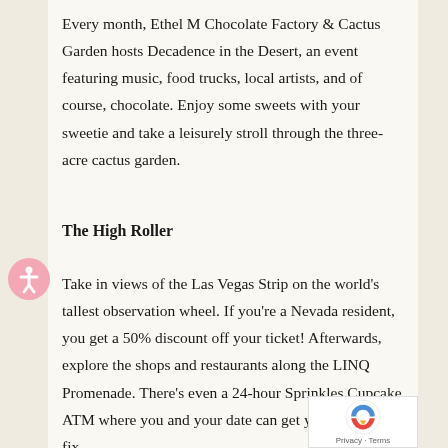Every month, Ethel M Chocolate Factory & Cactus Garden hosts Decadence in the Desert, an event featuring music, food trucks, local artists, and of course, chocolate. Enjoy some sweets with your sweetie and take a leisurely stroll through the three-acre cactus garden.
The High Roller
Take in views of the Las Vegas Strip on the world's tallest observation wheel. If you're a Nevada resident, you get a 50% discount off your ticket! Afterwards, explore the shops and restaurants along the LINQ Promenade. There's even a 24-hour Sprinkles Cupcake ATM where you and your date can get your dessert fix.